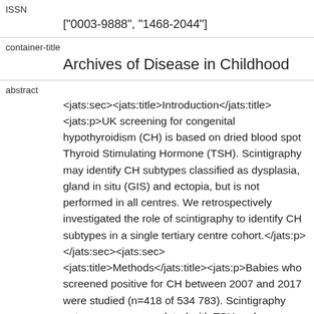ISSN
["0003-9888", "1468-2044"]
container-title
Archives of Disease in Childhood
abstract
<jats:sec><jats:title>Introduction</jats:title><jats:p>UK screening for congenital hypothyroidism (CH) is based on dried blood spot Thyroid Stimulating Hormone (TSH). Scintigraphy may identify CH subtypes classified as dysplasia, gland in situ (GIS) and ectopia, but is not performed in all centres. We retrospectively investigated the role of scintigraphy to identify CH subtypes in a single tertiary centre cohort.</jats:p></jats:sec><jats:sec><jats:title>Methods</jats:title><jats:p>Babies who screened positive for CH between 2007 and 2017 were studied (n=418 of 534 783). Scintigraphy outcomes were correlated with TSH and levothyroxine dose. GIS patients were analysed for